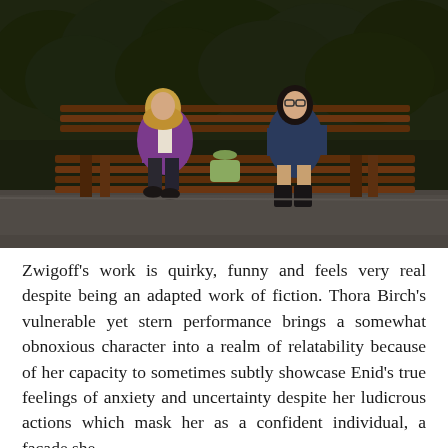[Figure (photo): Two women sitting on a wooden park bench at night in front of a hedge. The woman on the left wears a purple cardigan and dark pants with black shoes. The woman on the right wears a blue dress with black knee-high boots and glasses. A bag is on the bench beside them.]
Zwigoff's work is quirky, funny and feels very real despite being an adapted work of fiction. Thora Birch's vulnerable yet stern performance brings a somewhat obnoxious character into a realm of relatability because of her capacity to sometimes subtly showcase Enid's true feelings of anxiety and uncertainty despite her ludicrous actions which mask her as a confident individual, a facade she